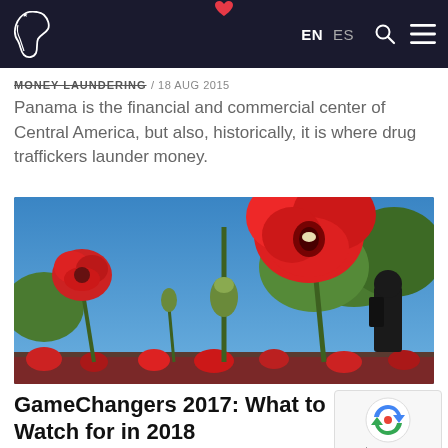EN  ES  [search] [menu]
MONEY LAUNDERING / 18 AUG 2015
Panama is the financial and commercial center of Central America, but also, historically, it is where drug traffickers launder money.
[Figure (photo): Low-angle photo of vivid red poppy flowers in a field against a blue sky, with green trees and a silhouetted figure in the background.]
GameChangers 2017: What to Watch for in 2018